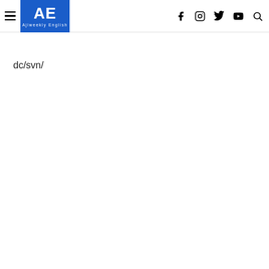AE Ajiweekly English — navigation header with social icons
dc/svn/